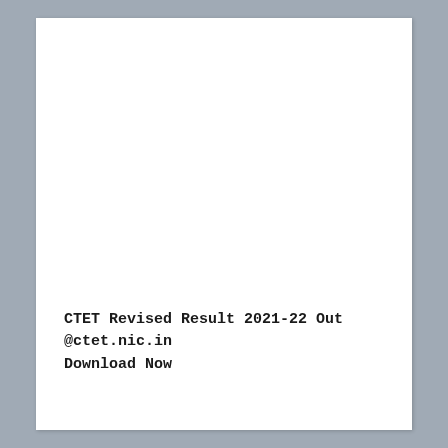CTET Revised Result 2021-22 Out @ctet.nic.in Download Now